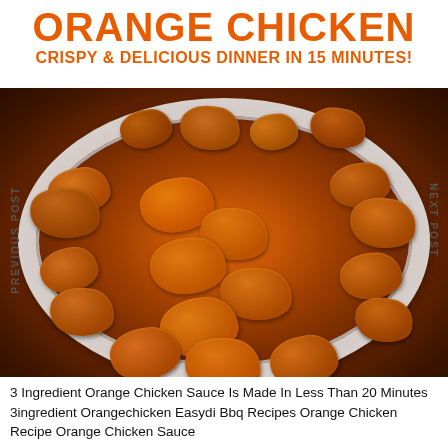ORANGE CHICKEN
CRISPY & DELICIOUS DINNER IN 15 MINUTES!
[Figure (photo): Overhead view of crispy orange chicken pieces coated in glossy orange sauce, served in a white bowl.]
PREVIOUS POST
NEXT POST
3 Ingredient Orange Chicken Sauce Is Made In Less Than 20 Minutes 3ingredient Orangechicken Easydi Bbq Recipes Orange Chicken Recipe Orange Chicken Sauce